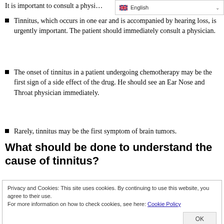It is important to consult a physi…
Tinnitus, which occurs in one ear and is accompanied by hearing loss, is urgently important. The patient should immediately consult a physician.
The onset of tinnitus in a patient undergoing chemotherapy may be the first sign of a side effect of the drug. He should see an Ear Nose and Throat physician immediately.
Rarely, tinnitus may be the first symptom of brain tumors.
What should be done to understand the cause of tinnitus?
Privacy and Cookies: This site uses cookies. By continuing to use this website, you agree to their use.
For more information on how to check cookies, see here: Cookie Policy
What is used in the treatment of